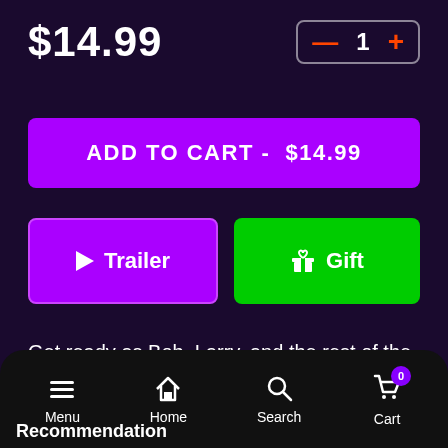$14.99
- 1 +
ADD TO CART -  $14.99
▶ Trailer
🎁 Gift
Get ready as Bob, Larry, and the rest of the Veggies set sail on a whale of an adventure. This is
More
Menu  Home  Search  Cart  0
Recommendation